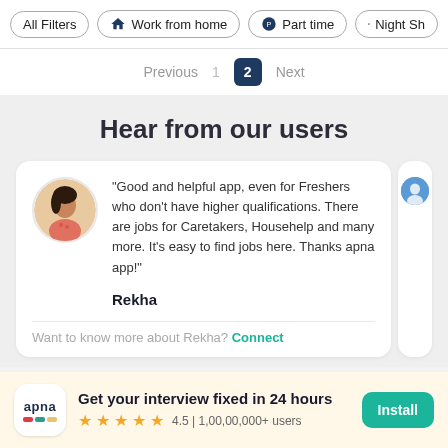All Filters | Work from home | Part time | Night Sh...
Previous  1  2  Next
Hear from our users
"Good and helpful app, even for Freshers who don't have higher qualifications. There are jobs for Caretakers, Househelp and many more. It's easy to find jobs here. Thanks apna app!"
Rekha
Want to know more about Rekha?  Connect
Get your interview fixed in 24 hours
4.5 | 1,00,00,000+ users
Install